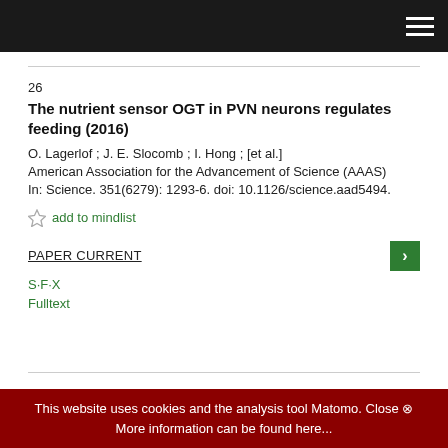26
The nutrient sensor OGT in PVN neurons regulates feeding (2016)
O. Lagerlof ; J. E. Slocomb ; I. Hong ; [et al.]
American Association for the Advancement of Science (AAAS)
In: Science. 351(6279): 1293-6. doi: 10.1126/science.aad5494.
add to mindlist
PAPER CURRENT
S·F·X
Fulltext
This website uses cookies and the analysis tool Matomo. Close ⊗ More information can be found here...